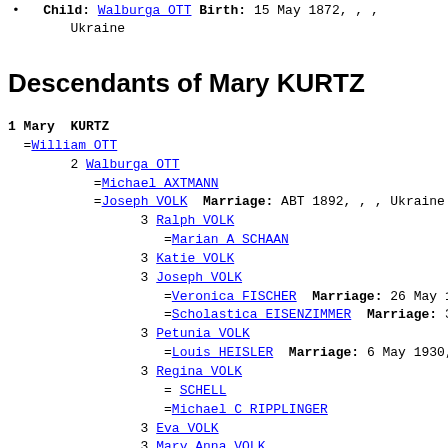Child: Walburga OTT Birth: 15 May 1872, , , Ukraine
Descendants of Mary KURTZ
1 Mary KURTZ
  =William OTT
      2 Walburga OTT
         =Michael AXTMANN
         =Joseph VOLK   Marriage: ABT 1892, , , Ukraine
               3 Ralph VOLK
                  =Marian A SCHAAN
               3 Katie VOLK
               3 Joseph VOLK
                  =Veronica FISCHER   Marriage: 26 May 1925, E
                  =Scholastica EISENZIMMER   Marriage: 30 Jun
               3 Petunia VOLK
                  =Louis HEISLER   Marriage: 6 May 1930, Selz,
               3 Regina VOLK
                  = SCHELL
                  =Michael C RIPPLINGER
               3 Eva VOLK
               3 Mary Anna VOLK
                  =Albert A ECKERT   Marriage: 1946
               3 Frank VOLK
               3 George VOLK